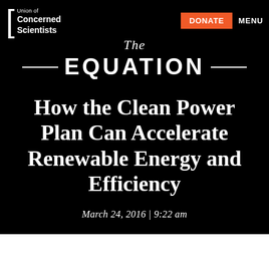Union of Concerned Scientists | DONATE | MENU
The EQUATION
How the Clean Power Plan Can Accelerate Renewable Energy and Efficiency
March 24, 2016 | 9:22 am